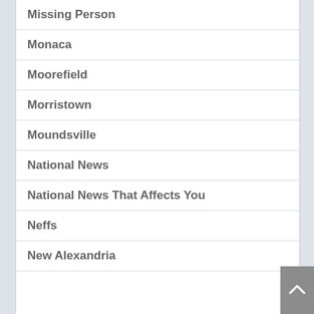Missing Person
Monaca
Moorefield
Morristown
Moundsville
National News
National News That Affects You
Neffs
New Alexandria